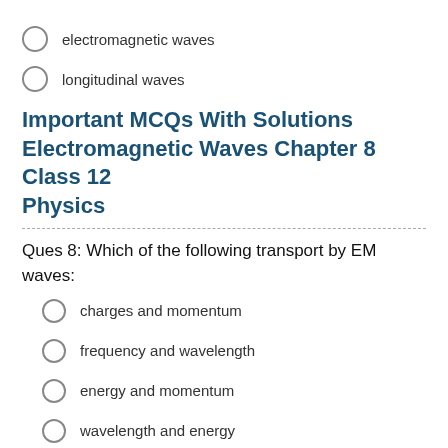electromagnetic waves
longitudinal waves
Important MCQs With Solutions Electromagnetic Waves Chapter 8 Class 12 Physics
Ques 8: Which of the following transport by EM waves:
charges and momentum
frequency and wavelength
energy and momentum
wavelength and energy